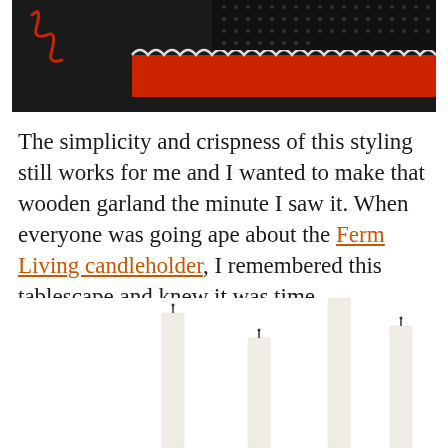[Figure (photo): Top portion of a styled photo showing red and black decorative elements with a zigzag/scalloped pattern border on a dark background]
The simplicity and crispness of this styling still works for me and I wanted to make that wooden garland the minute I saw it. When everyone was going ape about the Ferm Living candleholder, I remembered this tablescape and knew it was time.
[Figure (photo): Four tall white taper candles of varying heights arranged against a white background]